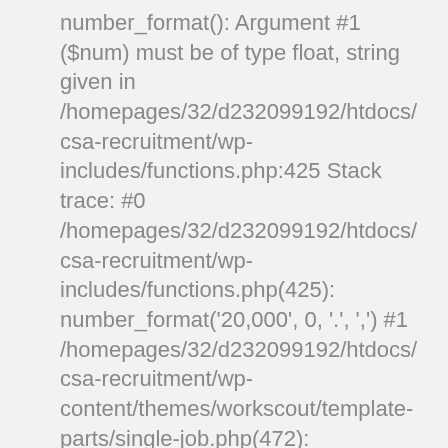number_format(): Argument #1 ($num) must be of type float, string given in /homepages/32/d232099192/htdocs/csa-recruitment/wp-includes/functions.php:425 Stack trace: #0 /homepages/32/d232099192/htdocs/csa-recruitment/wp-includes/functions.php(425): number_format('20,000', 0, '.', ',') #1 /homepages/32/d232099192/htdocs/csa-recruitment/wp-content/themes/workscout/template-parts/single-job.php(472): number_format_i18n('20,000') #2 /homepages/32/d232099192/htdocs/csa-recruitment/wp-includes/template.php(772): require('/homepages/32/d...') #3 /homepages/32/d232099192/htdocs/csa-recruitment/wp-includes/template.php(716)